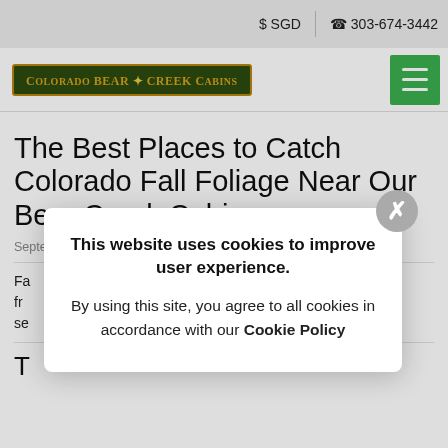$ SGD  303-674-3442
[Figure (logo): Colorado Bear Creek Cabins logo — dark green background with gold border and gold serif text]
The Best Places to Catch Colorado Fall Foliage Near Our Bear Creek Cabins
September 6, 2021 by Samuel Hoelscher
Fa... fr... se...  k
T
This website uses cookies to improve user experience.
By using this site, you agree to all cookies in accordance with our Cookie Policy